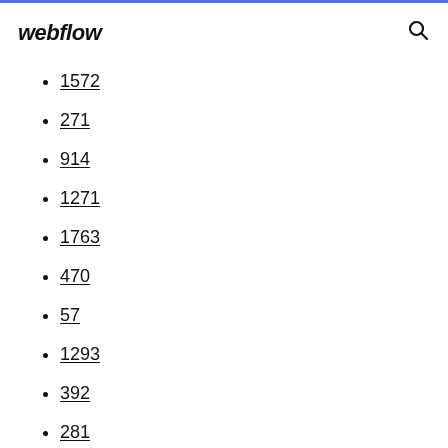webflow
1572
271
914
1271
1763
470
57
1293
392
281
1348
1576